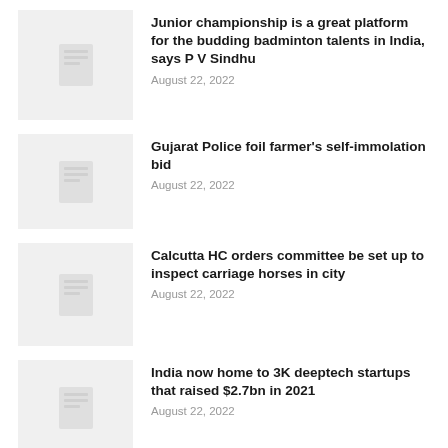[Figure (illustration): Thumbnail placeholder icon for news article 1]
Junior championship is a great platform for the budding badminton talents in India, says P V Sindhu
August 22, 2022
[Figure (illustration): Thumbnail placeholder icon for news article 2]
Gujarat Police foil farmer's self-immolation bid
August 22, 2022
[Figure (illustration): Thumbnail placeholder icon for news article 3]
Calcutta HC orders committee be set up to inspect carriage horses in city
August 22, 2022
[Figure (illustration): Thumbnail placeholder icon for news article 4]
India now home to 3K deeptech startups that raised $2.7bn in 2021
August 22, 2022